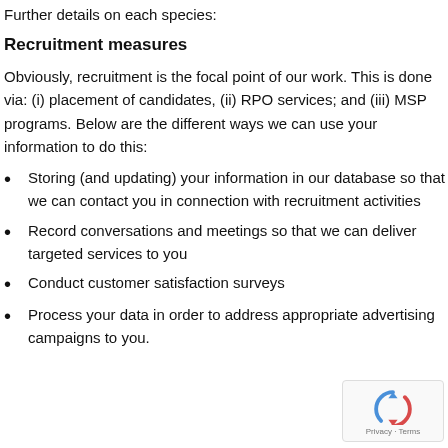Further details on each species:
Recruitment measures
Obviously, recruitment is the focal point of our work. This is done via: (i) placement of candidates, (ii) RPO services; and (iii) MSP programs. Below are the different ways we can use your information to do this:
Storing (and updating) your information in our database so that we can contact you in connection with recruitment activities
Record conversations and meetings so that we can deliver targeted services to you
Conduct customer satisfaction surveys
Process your data in order to address appropriate advertising campaigns to you.